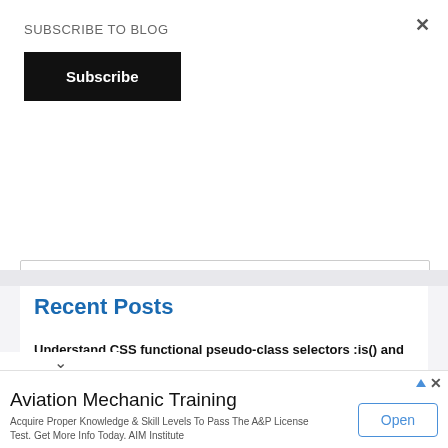SUBSCRIBE TO BLOG
Subscribe
×
Recent Posts
Understand CSS functional pseudo-class selectors :is() and :where()
How to Pass Salesforce Business Analyst Certification Exam
Aviation Mechanic Training
Acquire Proper Knowledge & Skill Levels To Pass The A&P License Test. Get More Info Today. AIM Institute
Open